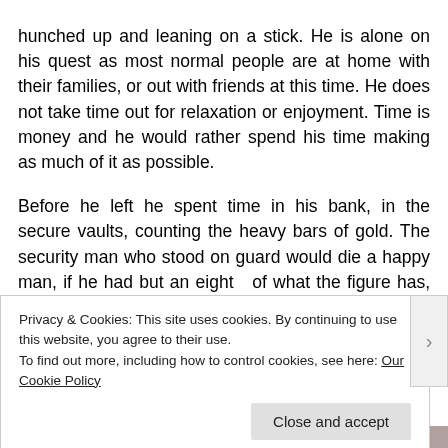hunched up and leaning on a stick. He is alone on his quest as most normal people are at home with their families, or out with friends at this time. He does not take time out for relaxation or enjoyment. Time is money and he would rather spend his time making as much of it as possible.
Before he left he spent time in his bank, in the secure vaults, counting the heavy bars of gold. The security man who stood on guard would die a happy man, if he had but an eight  of what the figure has, but he wonders at him. He looks like someone who has nothing, someone who may even need assistance. His
Privacy & Cookies: This site uses cookies. By continuing to use this website, you agree to their use.
To find out more, including how to control cookies, see here: Our Cookie Policy